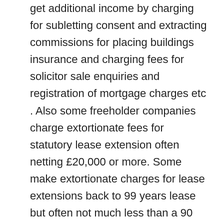get additional income by charging for subletting consent and extracting commissions for placing buildings insurance and charging fees for solicitor sale enquiries and registration of mortgage charges etc . Also some freeholder companies charge extortionate fees for statutory lease extension often netting £20,000 or more. Some make extortionate charges for lease extensions back to 99 years lease but often not much less than a 90 years lease. In retirement homes sites . sale of